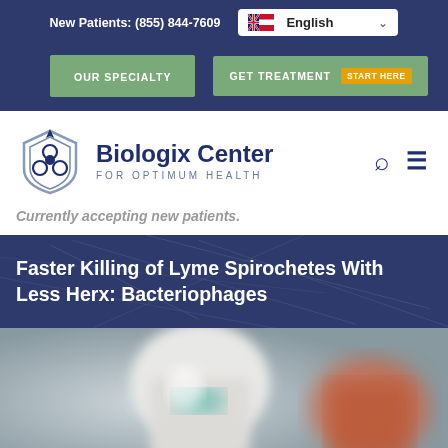New Patients: (855) 844-7609  English
OUR SPECIALTY
GET TREATMENT  START HERE
[Figure (logo): Biologix Center for Optimum Health logo with shield/triskele emblem]
Currently accepting new patients.
Faster Killing of Lyme Spirochetes With Less Herx: Bacteriophages
[Figure (photo): Blurred close-up photo of medicine or supplement bottles/containers]